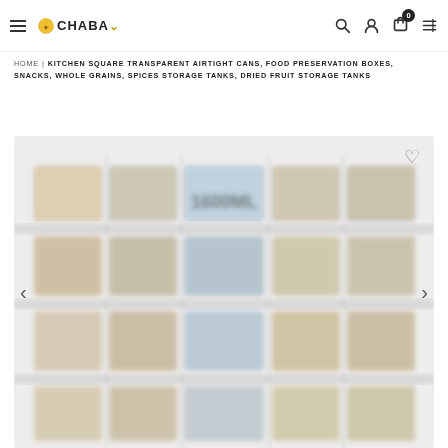CHABA — navigation bar with hamburger menu, logo, search, user, cart (0), and grid icons
HOME | KITCHEN SQUARE TRANSPARENT AIRTIGHT CANS, FOOD PRESERVATION BOXES, SNACKS, WHOLE GRAINS, SPICES STORAGE TANKS, DRIED FRUIT STORAGE TANKS
[Figure (photo): Product photo showing a grid arrangement of square transparent airtight food storage containers filled with various grains, snacks, and dried fruits. The containers are labeled '1600ML' in the center. A heart/wishlist icon appears top-right. Left and right navigation arrows are visible on the sides.]